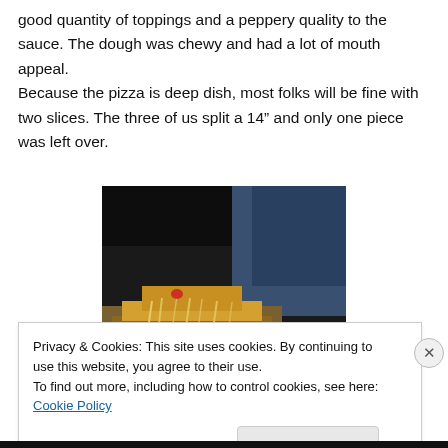good quantity of toppings and a peppery quality to the sauce. The dough was chewy and had a lot of mouth appeal.
Because the pizza is deep dish, most folks will be fine with two slices. The three of us split a 14” and only one piece was left over.
[Figure (photo): A photo of a deep dish pizza slice being lifted, with long cheese strands stretching from the pan. The image is dark and somewhat blurry.]
Privacy & Cookies: This site uses cookies. By continuing to use this website, you agree to their use.
To find out more, including how to control cookies, see here: Cookie Policy
Close and accept